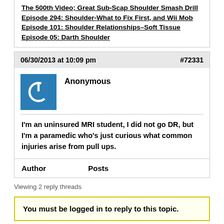The 500th Video; Great Sub-Scap Shoulder Smash Drill
Episode 294: Shoulder-What to Fix First, and Wii Mob
Episode 101: Shoulder Relationships–Soft Tissue
Episode 05: Darth Shoulder
06/30/2013 at 10:09 pm   #72331
Anonymous
I'm an uninsured MRI student, I did not go DR, but I'm a paramedic who's just curious what common injuries arise from pull ups.
Author   Posts
Viewing 2 reply threads
You must be logged in to reply to this topic.